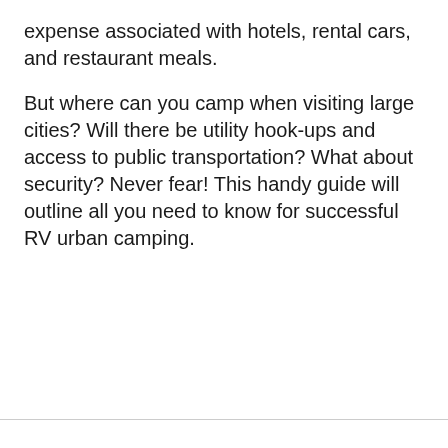expense associated with hotels, rental cars, and restaurant meals.
But where can you camp when visiting large cities? Will there be utility hook-ups and access to public transportation? What about security? Never fear! This handy guide will outline all you need to know for successful RV urban camping.